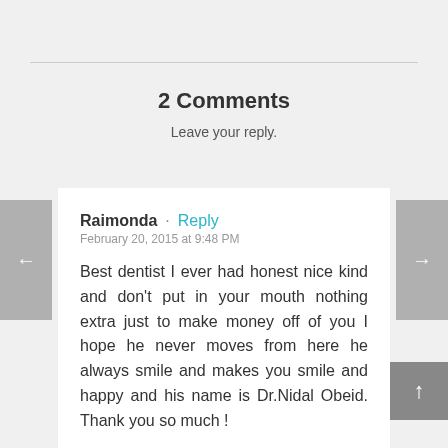2 Comments
Leave your reply.
Raimonda · Reply
February 20, 2015 at 9:48 PM

Best dentist I ever had honest nice kind and don't put in your mouth nothing extra just to make money off of you I hope he never moves from here he always smile and makes you smile and happy and his name is Dr.Nidal Obeid. Thank you so much !